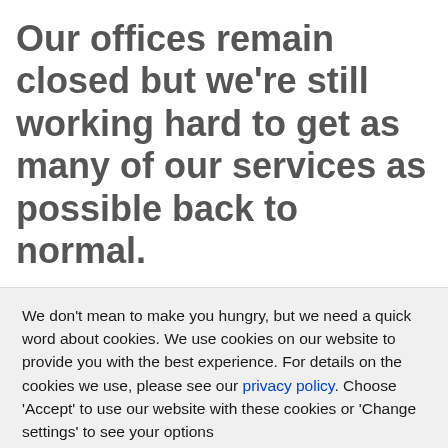Our offices remain closed but we're still working hard to get as many of our services as possible back to normal.
We don't mean to make you hungry, but we need a quick word about cookies. We use cookies on our website to provide you with the best experience. For details on the cookies we use, please see our privacy policy. Choose 'Accept' to use our website with these cookies or 'Change settings' to see your options
Accept
Change Settings